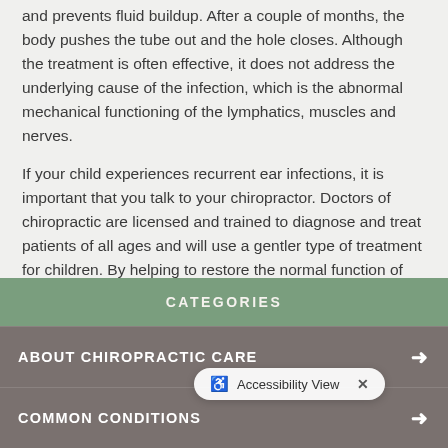and prevents fluid buildup. After a couple of months, the body pushes the tube out and the hole closes. Although the treatment is often effective, it does not address the underlying cause of the infection, which is the abnormal mechanical functioning of the lymphatics, muscles and nerves.
If your child experiences recurrent ear infections, it is important that you talk to your chiropractor. Doctors of chiropractic are licensed and trained to diagnose and treat patients of all ages and will use a gentler type of treatment for children. By helping to restore the normal function of the tissues of the neck, otitis media can usually be significantly reduced or completely eliminated in most children, without the use of antibiotics and surgery.
CATEGORIES
ABOUT CHIROPRACTIC CARE →
COMMON CONDITIONS →